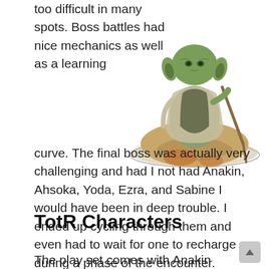too difficult in many spots. Boss battles had nice mechanics as well as a learning curve. The final boss was actually very challenging and had I not had Anakin, Ahsoka, Yoda, Ezra, and Sabine I would have been in deep trouble. I ended up cycling through them and even had to wait for one to recharge during a phase of the encounter.
[Figure (illustration): A Disney Infinity figurine of Yoda standing on a sandy/rocky base with a circular platform.]
TotR Characters
The play set comes with Anakin Skywalker and Ahsoka